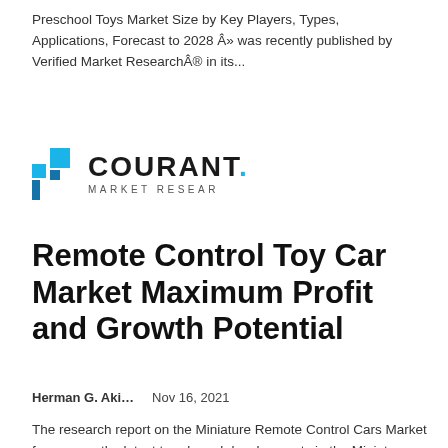Preschool Toys Market Size by Key Players, Types, Applications, Forecast to 2028 Â» was recently published by Verified Market ResearchÂ® in its...
[Figure (logo): Courant Market Research logo with blue geometric icon and text 'COURANT. MARKET RESEAR']
Remote Control Toy Car Market Maximum Profit and Growth Potential
Herman G. Aki...    Nov 16, 2021
The research report on the Miniature Remote Control Cars Market focuses on the latest trends and developments in the Miniature